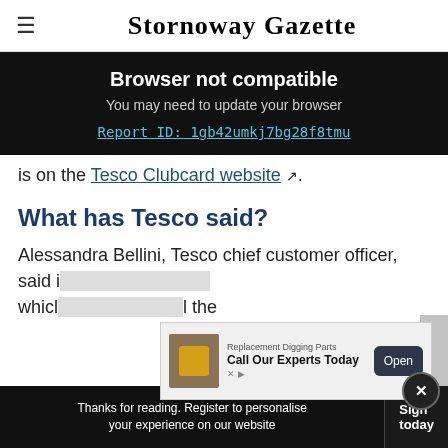Stornoway Gazette
Browser not compatible
You may need to update your browser
Report ID: 1gb42umkj7bg28f8tmu
is on the Tesco Clubcard website .
What has Tesco said?
Alessandra Bellini, Tesco chief customer officer, said i ... whicl ... l the
[Figure (other): Advertisement banner: Replacement Digging Parts - Call Our Experts Today, with Open button]
Thanks for reading. Register to personalise your experience on our website
Sign today